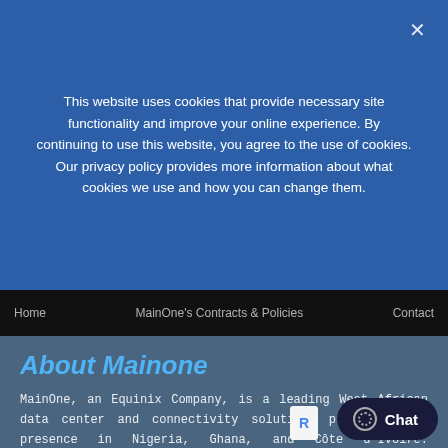This website uses cookies that provide necessary site functionality and improve your online experience. By continuing to use this website, you agree to the use of cookies. Our privacy policy provides more information about what cookies we use and how you can change them.
Home   MainOne's Contracts & Policies   Contact
About Mainone
MainOne, an Equinix Company, is a leading West African data center and connectivity solutions provider with presence in Nigeria, Ghana, and Côte d'Ivoire. MainOne provides reliable services to major telecom o... government agencies, small to large enterprises...